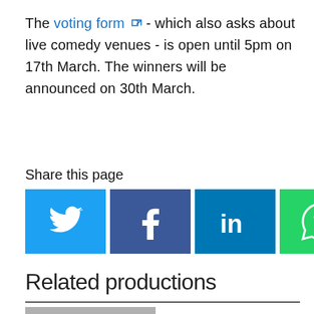The voting form ⧉ - which also asks about live comedy venues - is open until 5pm on 17th March. The winners will be announced on 30th March.
Share this page
[Figure (infographic): Five social media share buttons: Twitter (blue bird), Facebook (dark blue f), LinkedIn (blue 'in'), WhatsApp (green phone bubble), Email (black envelope)]
Related productions
[Figure (photo): Photo card with RADIO badge showing a man with curly hair in a dark jacket]
[Figure (photo): Photo card with RADIO badge showing a man in a suit on stage with a microphone and a Radio 4 logo]